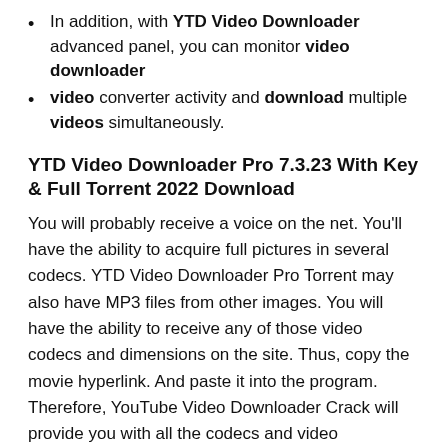In addition, with YTD Video Downloader advanced panel, you can monitor video downloader
video converter activity and download multiple videos simultaneously.
YTD Video Downloader Pro 7.3.23 With Key & Full Torrent 2022 Download
You will probably receive a voice on the net. You'll have the ability to acquire full pictures in several codecs. YTD Video Downloader Pro Torrent may also have MP3 files from other images. You will have the ability to receive any of those video codecs and dimensions on the site. Thus, copy the movie hyperlink. And paste it into the program. Therefore, YouTube Video Downloader Crack will provide you with all the codecs and video dimensions. These codes and their sizes must be shown in a drop-down listing. So, perhaps you can decide on the variety you want. And click